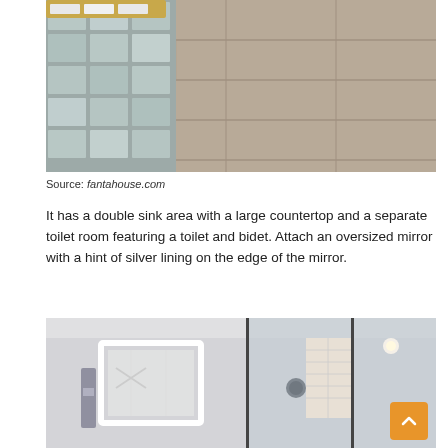[Figure (photo): Close-up of a bathroom area showing glass block wall, wood-look floor tiles, and a bamboo tray with white items on top.]
Source: fantahouse.com
It has a double sink area with a large countertop and a separate toilet room featuring a toilet and bidet. Attach an oversized mirror with a hint of silver lining on the edge of the mirror.
[Figure (photo): Bathroom interior showing a large framed mirror, glass shower enclosure with chevron tile accent, and recessed lighting.]